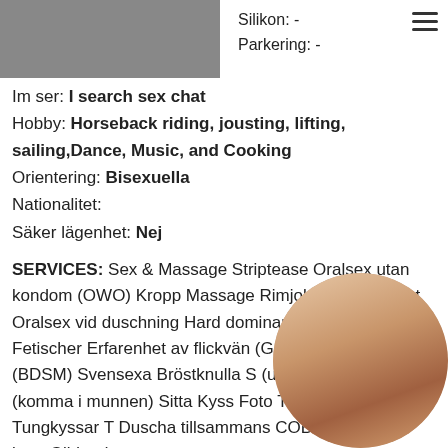[Figure (photo): Dark gray crumpled fabric photo in top left]
Silikon: -
Parkering: -
[Figure (other): Hamburger menu icon (three horizontal lines)]
Im ser: I search sex chat
Hobby: Horseback riding, jousting, lifting, sailing,Dance, Music, and Cooking
Orientering: Bisexuella
Nationalitet:
Säker lägenhet: Nej
SERVICES: Sex & Massage Striptease Oralsex utan kondom (OWO) Kropp Massage Rimjob Lätt dominant Oralsex vid duschning Hard dominant Uniforms Analsex Fetischer Erfarenhet av flickvän (GFE) Bondage (BDSM) Svensexa Bröstknulla S (urination) CIM (komma i munnen) Sitta Kyss Foto Tar emot slavar Tungkyssar T Duscha tillsammans COB (komma på krop Glidande massage
[Figure (photo): Circular cropped photo of a woman in the bottom right corner]